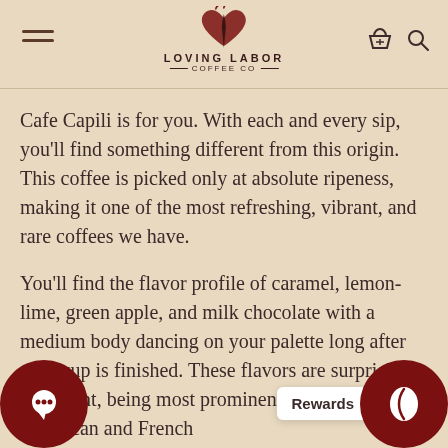Loving Labor Coffee Co
Cafe Capili is for you. With each and every sip, you'll find something different from this origin. This coffee is picked only at absolute ripeness, making it one of the most refreshing, vibrant, and rare coffees we have.
You'll find the flavor profile of caramel, lemon-lime, green apple, and milk chocolate with a medium body dancing on your palette long after your cup is finished. These flavors are surprisingly persistent, being most prominent between American and French